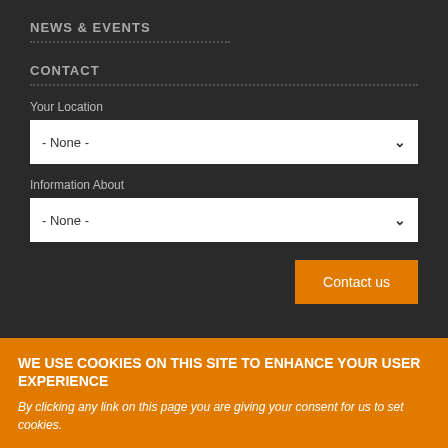NEWS & EVENTS
CONTACT
Your Location
- None -
Information About
- None -
Contact us
WE USE COOKIES ON THIS SITE TO ENHANCE YOUR USER EXPERIENCE
By clicking any link on this page you are giving your consent for us to set cookies.